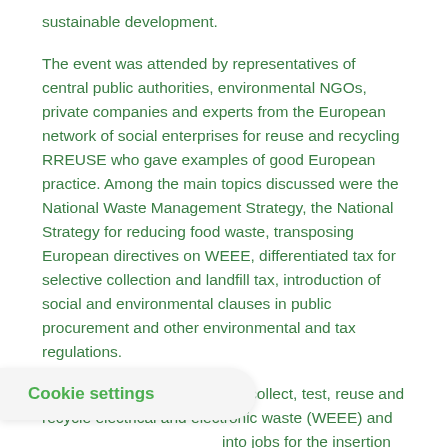sustainable development.
The event was attended by representatives of central public authorities, environmental NGOs, private companies and experts from the European network of social enterprises for reuse and recycling RREUSE who gave examples of good European practice. Among the main topics discussed were the National Waste Management Strategy, the National Strategy for reducing food waste, transposing European directives on WEEE, differentiated tax for selective collection and landfill tax, introduction of social and environmental clauses in public procurement and other environmental and tax regulations.
"At Ateliere Fara Frontiere we collect, test, reuse and recycle electrical and electronic waste (WEEE) and into jobs for the insertion of , into equipment reconditioned by reuse that reaches through
Cookie settings